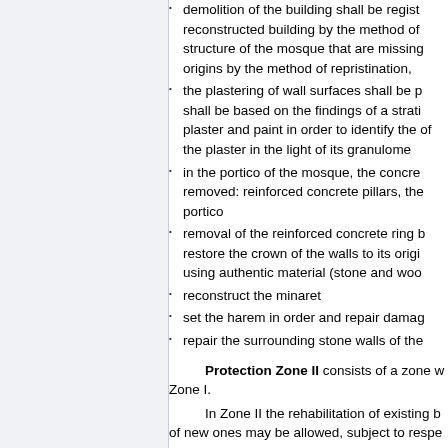demolition of the building shall be registered and the reconstructed building by the method of structure of the mosque that are missing origins by the method of repristination,
the plastering of wall surfaces shall be p shall be based on the findings of a strati plaster and paint in order to identify the of the plaster in the light of its granulome
in the portico of the mosque, the concre removed: reinforced concrete pillars, the portico
removal of the reinforced concrete ring b restore the crown of the walls to its origi using authentic material (stone and woo
reconstruct the minaret
set the harem in order and repair damag
repair the surrounding stone walls of the
Protection Zone II consists of a zone w Zone I.
In Zone II the rehabilitation of existing b of new ones may be allowed, subject to respe storeys in the original form of the buildings usin white-painted plastered walls of building bricks pitched roofs, wooden roof frames, roof pitch o of unpainted wood).
All executive and area development pla of this Decision and the rules by